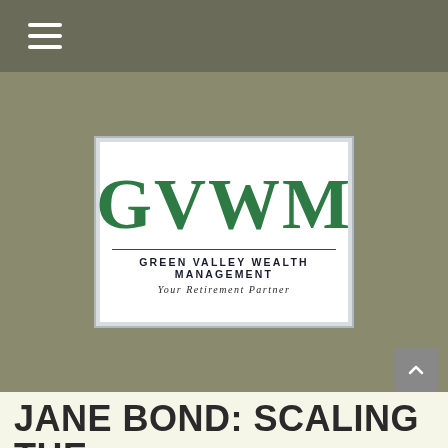Navigation menu header bar
[Figure (logo): Green Valley Wealth Management logo with large GVWM letters in green, company name, and tagline 'Your Retirement Partner']
JANE BOND: SCALING THE LADDER